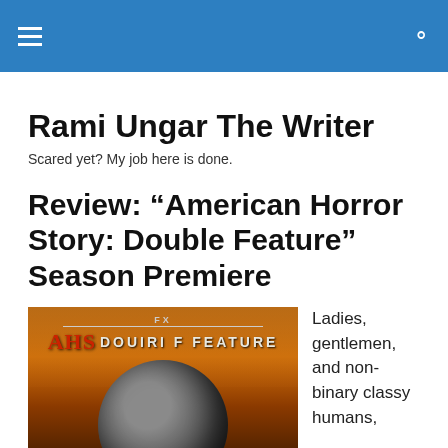Navigation bar with hamburger menu and search icon
Rami Ungar The Writer
Scared yet? My job here is done.
Review: “American Horror Story: Double Feature” Season Premiere
[Figure (photo): Promotional image for AHS Double Feature showing the show logo with red AHS lettering and white DOUBLE FEATURE text, with a large grey alien head/planet sphere against an orange-brown apocalyptic sky]
Ladies, gentlemen, and non-binary classy humans,